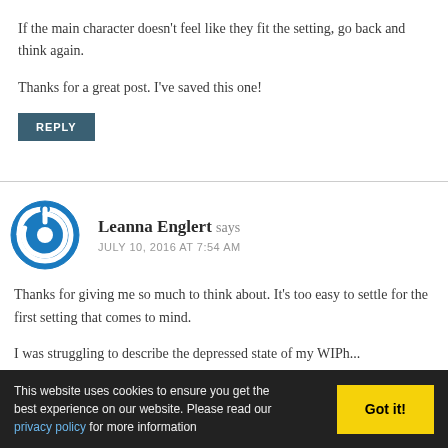If the main character doesn't feel like they fit the setting, go back and think again.
Thanks for a great post. I've saved this one!
REPLY
Leanna Englert says
JULY 10, 2016 AT 7:54 AM
Thanks for giving me so much to think about. It's too easy to settle for the first setting that comes to mind.
I was struggling to describe the depressed state of my WIPh...
This website uses cookies to ensure you get the best experience on our website. Please read our privacy policy for more information